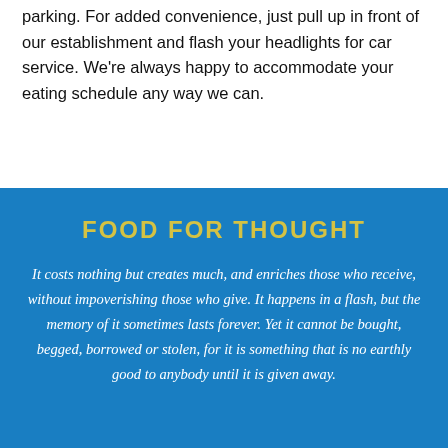parking. For added convenience, just pull up in front of our establishment and flash your headlights for car service. We're always happy to accommodate your eating schedule any way we can.
FOOD FOR THOUGHT
It costs nothing but creates much, and enriches those who receive, without impoverishing those who give. It happens in a flash, but the memory of it sometimes lasts forever. Yet it cannot be bought, begged, borrowed or stolen, for it is something that is no earthly good to anybody until it is given away.